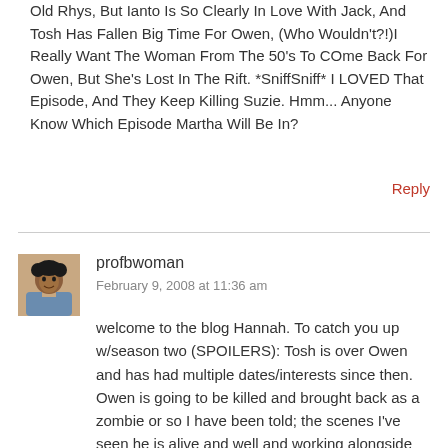Old Rhys, But Ianto Is So Clearly In Love With Jack, And Tosh Has Fallen Big Time For Owen, (Who Wouldn't?!)I Really Want The Woman From The 50's To COme Back For Owen, But She's Lost In The Rift. *SniffSniff* I LOVED That Episode, And They Keep Killing Suzie. Hmm... Anyone Know Which Episode Martha Will Be In?
Reply
profbwoman
February 9, 2008 at 11:36 am
welcome to the blog Hannah. To catch you up w/season two (SPOILERS): Tosh is over Owen and has had multiple dates/interests since then. Owen is going to be killed and brought back as a zombie or so I have been told; the scenes I've seen he is alive and well and working alongside Martha. At some point, b/c of Adam, he will say he loves her though. Martha joins the show in Reset